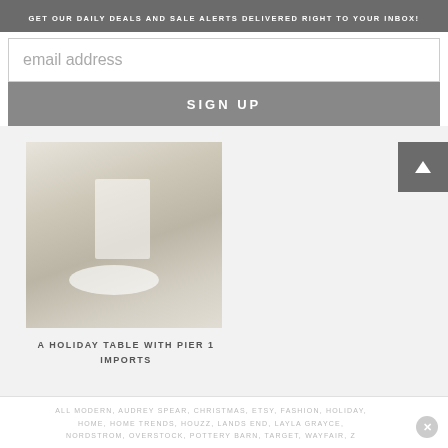GET OUR DAILY DEALS AND SALE ALERTS DELIVERED RIGHT TO YOUR INBOX!
email address
SIGN UP
[Figure (photo): Holiday table setting with white plates, greenery, and decorative star ornament on a neutral linen tablecloth]
A HOLIDAY TABLE WITH PIER 1 IMPORTS
ALL MODERN, AUDREY SPEAR, CHRISTMAS, ETSY, FASHION, HOLIDAY, HOME, HOME TRENDS, HOUZZ, LANDS END, LAYLA GRAYCE, NORDSTROM, OVERSTOCK, POTTERY BARN, TARGET, WAYFAIR, Z